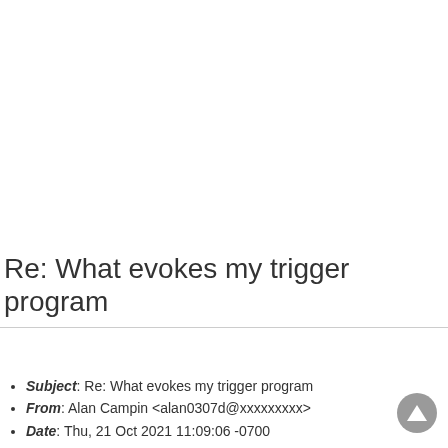Re: What evokes my trigger program
Subject: Re: What evokes my trigger program
From: Alan Campin <alan0307d@xxxxxxxxx>
Date: Thu, 21 Oct 2021 11:09:06 -0700